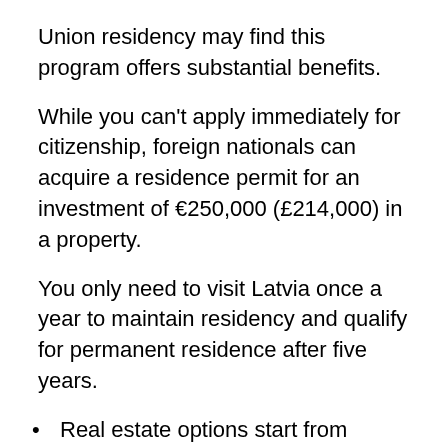Union residency may find this program offers substantial benefits.
While you can't apply immediately for citizenship, foreign nationals can acquire a residence permit for an investment of €250,000 (£214,000) in a property.
You only need to visit Latvia once a year to maintain residency and qualify for permanent residence after five years.
Real estate options start from €250,000 (£214,000), or government bond purchases for the same value also qualify
(partially visible at bottom)